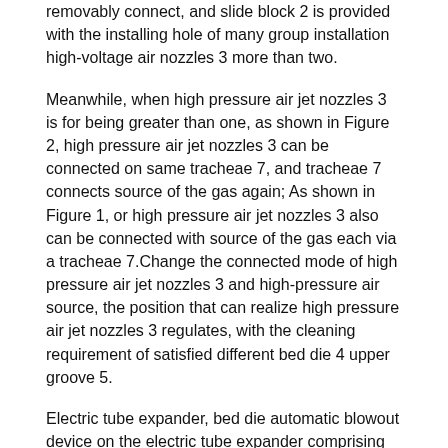removably connect, and slide block 2 is provided with the installing hole of many group installation high-voltage air nozzles 3 more than two.
Meanwhile, when high pressure air jet nozzles 3 is for being greater than one, as shown in Figure 2, high pressure air jet nozzles 3 can be connected on same tracheae 7, and tracheae 7 connects source of the gas again; As shown in Figure 1, or high pressure air jet nozzles 3 also can be connected with source of the gas each via a tracheae 7.Change the connected mode of high pressure air jet nozzles 3 and high-pressure air source, the position that can realize high pressure air jet nozzles 3 regulates, with the cleaning requirement of satisfied different bed die 4 upper groove 5.
Electric tube expander, bed die automatic blowout device on the electric tube expander comprising said structure.
As further preferred scheme, can integrate the control system of electric tube expander according to actual needs, the terminal of the controller of electric tube expander is expanded, to realize full-automatic production; Magnetic valve is directly connected with the PLC of